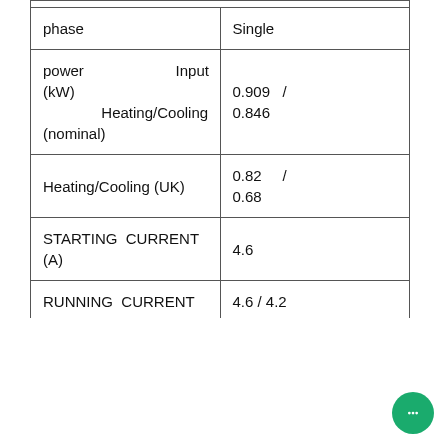| Parameter | Value |
| --- | --- |
| phase | Single |
| power Input (kW) Heating/Cooling (nominal) | 0.909 / 0.846 |
| Heating/Cooling (UK) | 0.82 / 0.68 |
| STARTING CURRENT (A) | 4.6 |
| RUNNING CURRENT | 4.6 / 4.2 |